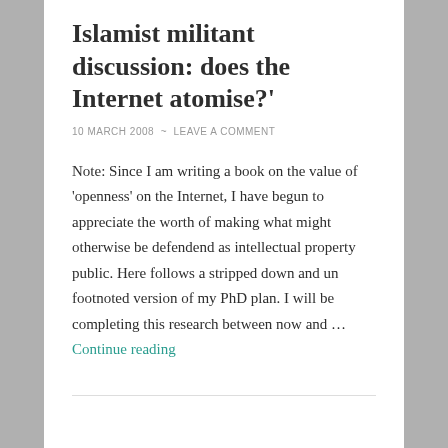Islamist militant discussion: does the Internet atomise?'
10 MARCH 2008 ~ LEAVE A COMMENT
Note: Since I am writing a book on the value of 'openness' on the Internet, I have begun to appreciate the worth of making what might otherwise be defendend as intellectual property public. Here follows a stripped down and un footnoted version of my PhD plan. I will be completing this research between now and … Continue reading